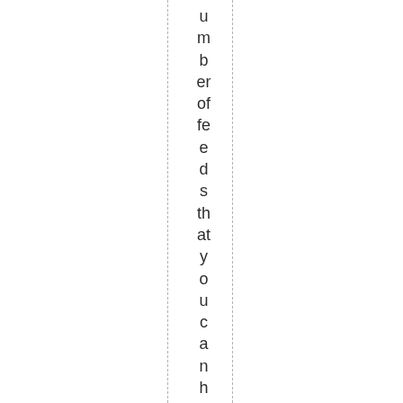umber of feeds that you can have. One of the mo
One of the mo